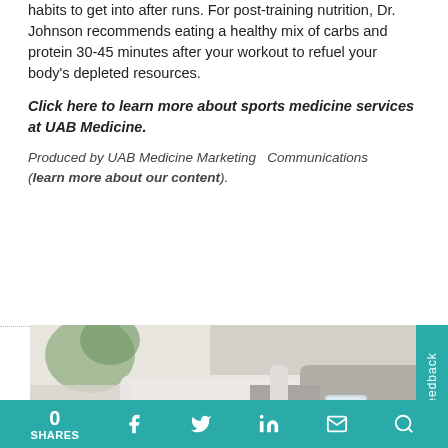habits to get into after runs. For post-training nutrition, Dr. Johnson recommends eating a healthy mix of carbs and protein 30-45 minutes after your workout to refuel your body's depleted resources.
Click here to learn more about sports medicine services at UAB Medicine.
Produced by UAB Medicine Marketing   Communications (learn more about our content).
[Figure (photo): A person holding pills in an open palm and a glass of water in the other hand, wearing a white top and grey cardigan, with a blurred background.]
0 SHARES  [Facebook icon] [Twitter icon] [LinkedIn icon] [Email icon] [Search icon]